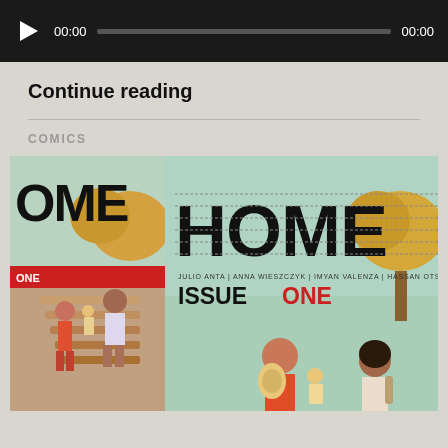[Figure (screenshot): Audio player bar with play button, 00:00 time display, progress bar, and 00:00 end time on dark background]
Continue reading
COMICS
[Figure (photo): Comic book cover for 'HOME' Issue One, showing illustrated characters (a woman and child with backpacks) walking on a path with autumn trees. The word HOME appears in large bold letters with barbed wire texture. Authors listed: Julio Anta, Anna Wieszczyk, Imyan Valenza, Hassan Otsmane-Elhaou. A second partially-visible copy of the same cover is shown to the left.]